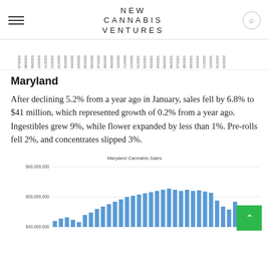NEW CANNABIS VENTURES
[Figure (continuous-plot): Partial x-axis date labels from a time-series chart, showing dates from 07/2019 through 02/2022]
Maryland
After declining 5.2% from a year ago in January, sales fell by 6.8% to $41 million, which represented growth of 0.2% from a year ago. Ingestibles grew 9%, while flower expanded by less than 1%. Pre-rolls fell 2%, and concentrates slipped 3%.
[Figure (bar-chart): Bar chart showing Maryland Cannabis Sales over time with y-axis from $40,000,000 to $60,000,000. Bars visible in the lower portion of the page, showing increasing then slightly declining trend.]